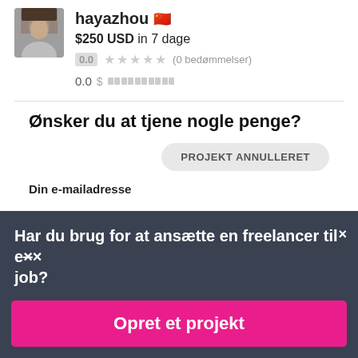[Figure (photo): Avatar/profile photo of user hayazhou, small square image with person's face]
hayazhou 🇨🇳
$250 USD in 7 dage
0.0 ★★★★★ (0 bedømmelser)
0.0 $ ▬▬▬▬▬▬▬▬▬
Ønsker du at tjene nogle penge?
PROJEKT ANNULLERET
Din e-mailadresse
Har du brug for at ansætte en freelancer til et job?
Opret et projekt